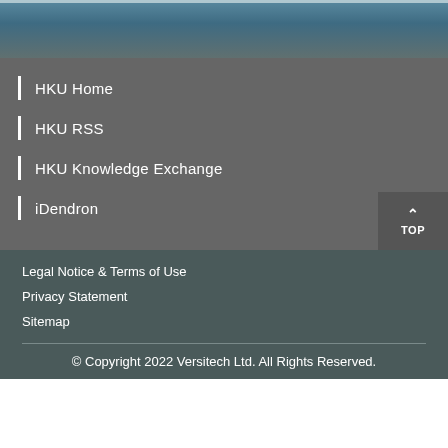[Figure (illustration): Blurred teal/steel blue decorative header image with a light border at the top]
HKU Home
HKU RSS
HKU Knowledge Exchange
iDendron
Legal Notice & Terms of Use
Privacy Statement
Sitemap
© Copyright 2022 Versitech Ltd. All Rights Reserved.